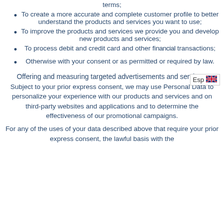terms;
To create a more accurate and complete customer profile to better understand the products and services you want to use;
To improve the products and services we provide you and develop new products and services;
To process debit and credit card and other financial transactions;
Otherwise with your consent or as permitted or required by law.
Offering and measuring targeted advertisements and services:
Subject to your prior express consent, we may use Personal Data to personalize your experience with our products and services and on third-party websites and applications and to determine the effectiveness of our promotional campaigns.
For any of the uses of your data described above that require your prior express consent, the lawful basis with the